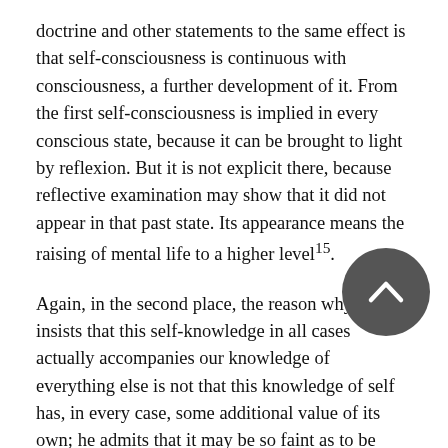doctrine and other statements to the same effect is that self-consciousness is continuous with consciousness, a further development of it. From the first self-consciousness is implied in every conscious state, because it can be brought to light by reflexion. But it is not explicit there, because reflective examination may show that it did not appear in that past state. Its appearance means the raising of mental life to a higher level¹⁵.
Again, in the second place, the reason why Ferrier insists that this self-knowledge in all cases actually accompanies our knowledge of everything else is not that this knowledge of self has, in every case, some additional value of its own; he admits that it may be so faint as to be negligible (and often, when present, it would seem only to disturb the concentration of attention on the real object of interest at the time); but because he thinks that without it there could be no